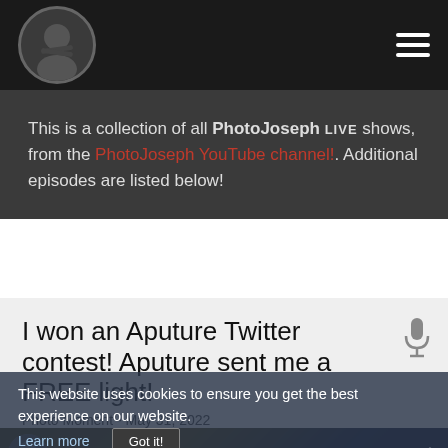PhotoJoseph LIVE — navigation bar with avatar and hamburger menu
This is a collection of all PhotoJoseph LIVE shows, from the PhotoJoseph YouTube channel!. Additional episodes are listed below!
I won an Aputure Twitter contest! Aputure sent me a FREE light!
Photo Moment - May 31, 2022
This website uses cookies to ensure you get the best experience on our website.
Learn more
Got it!
[Figure (screenshot): YouTube video thumbnail showing 'WON!' text in large yellow letters on a blue/yellow background, with a video overlay bar showing the video title 'I won an Aputure Twitter contes...']